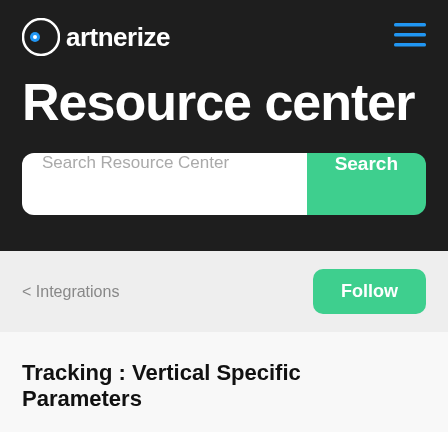[Figure (logo): Partnerize logo with blue dot and white text on dark background]
Resource center
[Figure (screenshot): Search bar with placeholder 'Search Resource Center' and a green Search button]
< Integrations
Follow
Tracking : Vertical Specific Parameters